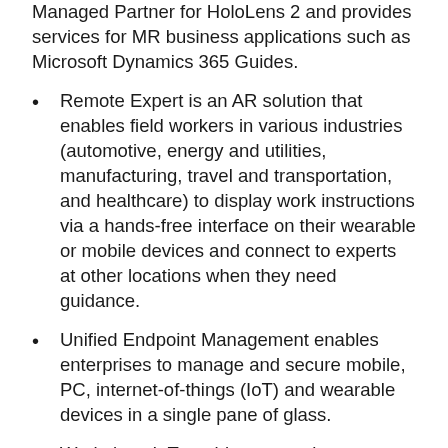Managed Partner for HoloLens 2 and provides services for MR business applications such as Microsoft Dynamics 365 Guides.
Remote Expert is an AR solution that enables field workers in various industries (automotive, energy and utilities, manufacturing, travel and transportation, and healthcare) to display work instructions via a hands-free interface on their wearable or mobile devices and connect to experts at other locations when they need guidance.
Unified Endpoint Management enables enterprises to manage and secure mobile, PC, internet-of-things (IoT) and wearable devices in a single pane of glass.
Workplace IoT enables enterprises to securely deploy and manage smart connected devices.